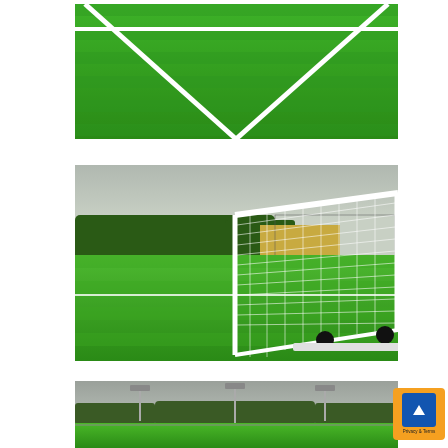[Figure (photo): Close-up aerial view of bright green artificial grass football pitch showing white line markings converging in a V-shape (corner or centre circle area)]
[Figure (photo): Ground-level view of a football pitch with artificial grass, a portable white goal with black wheels and white net in the foreground, and a stadium/stands visible in the background under an overcast sky]
[Figure (photo): Partial view of a football pitch showing floodlight towers, trees and pitch perimeter fencing under a grey overcast sky]